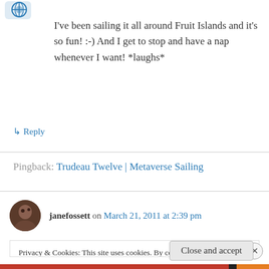[Figure (logo): Blue decorative avatar/icon at top left]
I've been sailing it all around Fruit Islands and it's so fun! :-) And I get to stop and have a nap whenever I want! *laughs*
↳ Reply
Pingback: Trudeau Twelve | Metaverse Sailing
[Figure (photo): Small circular avatar photo of janefossett, dark tones]
janefossett on March 21, 2011 at 2:39 pm
Privacy & Cookies: This site uses cookies. By continuing to use this website, you agree to their use.
To find out more, including how to control cookies, see here: Cookie Policy
Close and accept